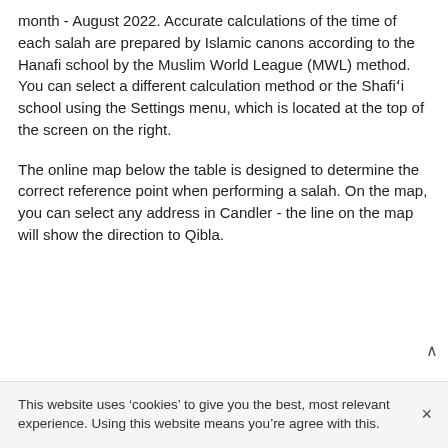month - August 2022. Accurate calculations of the time of each salah are prepared by Islamic canons according to the Hanafi school by the Muslim World League (MWL) method. You can select a different calculation method or the Shafi'i school using the Settings menu, which is located at the top of the screen on the right.
The online map below the table is designed to determine the correct reference point when performing a salah. On the map, you can select any address in Candler - the line on the map will show the direction to Qibla.
This website uses ‘cookies’ to give you the best, most relevant experience. Using this website means you’re agree with this.